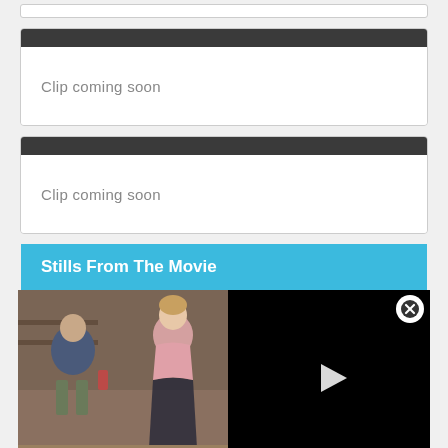[Figure (screenshot): Top partial white box with border, partially visible at top of page]
[Figure (screenshot): Clip player box with dark header bar and white body containing text 'Clip coming soon']
Clip coming soon
[Figure (screenshot): Second clip player box with dark header bar and white body containing text 'Clip coming soon']
Clip coming soon
Stills From The Movie
[Figure (screenshot): Video player showing a still from the movie on the left half and black area on the right with a play button, close button in top right corner]